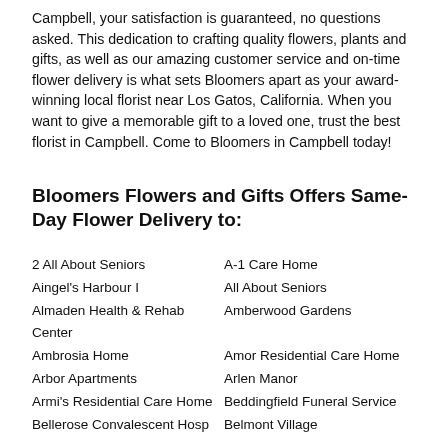Campbell, your satisfaction is guaranteed, no questions asked. This dedication to crafting quality flowers, plants and gifts, as well as our amazing customer service and on-time flower delivery is what sets Bloomers apart as your award-winning local florist near Los Gatos, California. When you want to give a memorable gift to a loved one, trust the best florist in Campbell. Come to Bloomers in Campbell today!
Bloomers Flowers and Gifts Offers Same-Day Flower Delivery to:
2 All About Seniors
A-1 Care Home
Aingel's Harbour I
All About Seniors
Almaden Health & Rehab Center
Amberwood Gardens
Ambrosia Home
Amor Residential Care Home
Arbor Apartments
Arlen Manor
Armi's Residential Care Home
Beddingfield Funeral Service
Bellerose Convalescent Hosp
Belmont Village